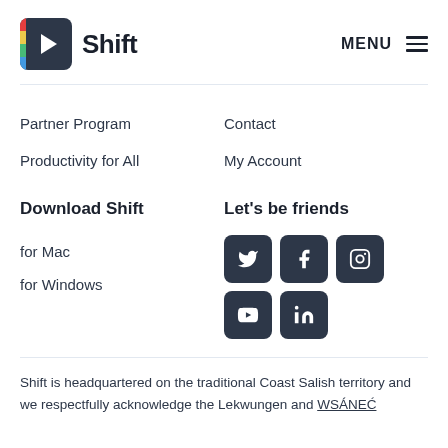Shift — MENU
Partner Program
Contact
Productivity for All
My Account
Download Shift
Let's be friends
for Mac
for Windows
[Figure (infographic): Social media icon buttons: Twitter, Facebook, Instagram (top row); YouTube, LinkedIn (bottom row) — dark rounded square buttons with white icons]
Shift is headquartered on the traditional Coast Salish territory and we respectfully acknowledge the Lekwungen and WSÁNEĆ